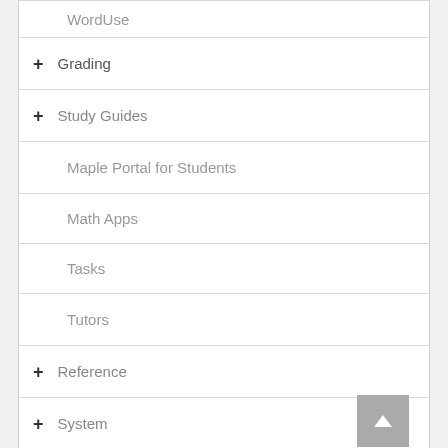WordUse
+ Grading
+ Study Guides
Maple Portal for Students
Math Apps
Tasks
Tutors
+ Reference
+ System
+ Configure Maple
+ Manuals